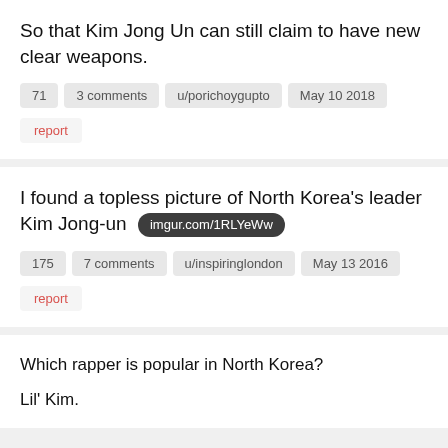So that Kim Jong Un can still claim to have new clear weapons.
71  3 comments  u/porichoygupto  May 10 2018
report
I found a topless picture of North Korea's leader Kim Jong-un  imgur.com/1RLYeWw
175  7 comments  u/inspiringlondon  May 13 2016
report
Which rapper is popular in North Korea?
Lil' Kim.